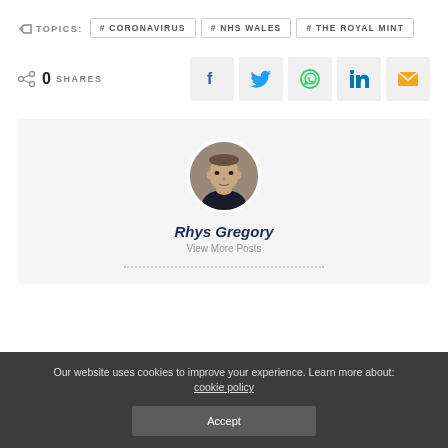TOPICS: #CORONAVIRUS  #NHS WALES  #THE ROYAL MINT
0 SHARES
[Figure (infographic): Social share buttons: Facebook, Twitter, WhatsApp, LinkedIn, Email]
[Figure (photo): Circular headshot photo of Rhys Gregory]
Rhys Gregory
View More Posts
Our website uses cookies to improve your experience. Learn more about: cookie policy
Accept